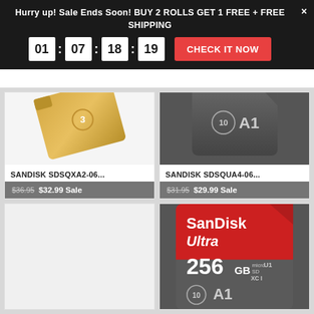Hurry up! Sale Ends Soon! BUY 2 ROLLS GET 1 FREE + FREE SHIPPING
01 : 07 : 18 : 19  CHECK IT NOW
SANDISK SDSQXA2-06...
$36.95 $32.99 Sale
SANDISK SDSQUA4-06...
$31.95 $29.99 Sale
[Figure (photo): Gold colored microSD memory card, class 3]
[Figure (photo): Dark gray microSD card with class 10 A1 label]
[Figure (photo): Empty product card placeholder]
[Figure (photo): SanDisk Ultra 256GB microSDXC UHS-I A1 memory card, red and gray]